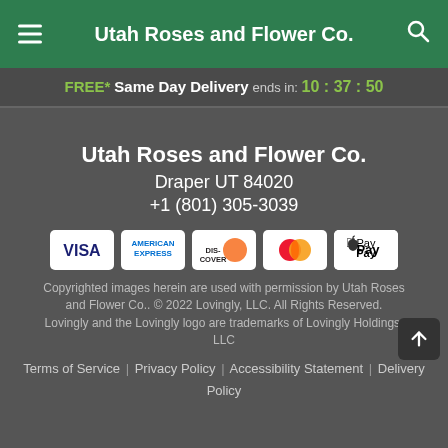Utah Roses and Flower Co.
FREE* Same Day Delivery ends in: 10 : 37 : 50
Utah Roses and Flower Co.
Draper UT 84020
+1 (801) 305-3039
[Figure (other): Payment method icons: VISA, American Express, Discover, Mastercard, Apple Pay]
Copyrighted images herein are used with permission by Utah Roses and Flower Co.. © 2022 Lovingly, LLC. All Rights Reserved. Lovingly and the Lovingly logo are trademarks of Lovingly Holdings, LLC
Terms of Service | Privacy Policy | Accessibility Statement | Delivery Policy